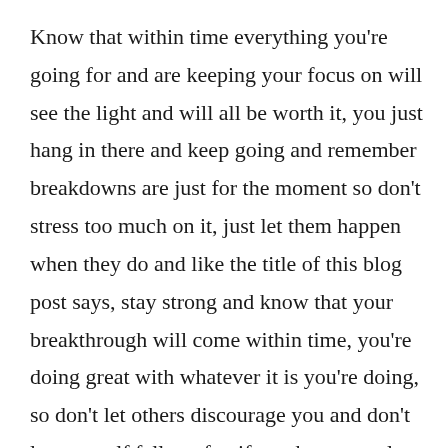Know that within time everything you're going for and are keeping your focus on will see the light and will all be worth it, you just hang in there and keep going and remember breakdowns are just for the moment so don't stress too much on it, just let them happen when they do and like the title of this blog post says, stay strong and know that your breakthrough will come within time, you're doing great with whatever it is you're doing, so don't let others discourage you and don't let yourself fall too far, if you happen to let yourself fall too far just know that if you want to, you'll find your way back. Trust in yourself and keep going after what you want, sooner or later you'll get there and when you do, take that